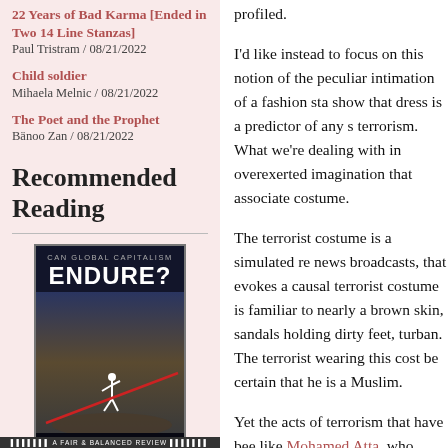22 Years of Bad Karma [Ended in Two 14 Line Stanzas]
Paul Tristram / 08/21/2022
Child soldier
Mihaela Melnic / 08/21/2022
The Poet and the Prophet
Bänoo Zan / 08/21/2022
Recommended Reading
[Figure (photo): Book cover for 'Can Global Capitalism Endure?' by William I. Robinson, dark blue/black cover with a figure running]
Can Global Capitalism Endure?
William I. Robinson
profiled.
I'd like instead to focus on this notion of the peculiar intimation of a fashion statement to show that dress is a predictor of any sort of terrorism. What we're dealing with in is an overexerted imagination that associates terrorism with costume.
The terrorist costume is a simulated representation, mainly drawn from news broadcasts, that evokes a causal connection. The terrorist costume is familiar to nearly anyone: dark brown skin, sandals holding dirty feet, a loose robe, a turban. The terrorist wearing this costume, we can be certain that he is a Muslim.
Yet the acts of terrorism that have been committed by people like Mohamed Atta, who didn't at all resemble... Rahman and Zaghloul unfortunately reinforced them to an American audience. But that resulted in a real crime.